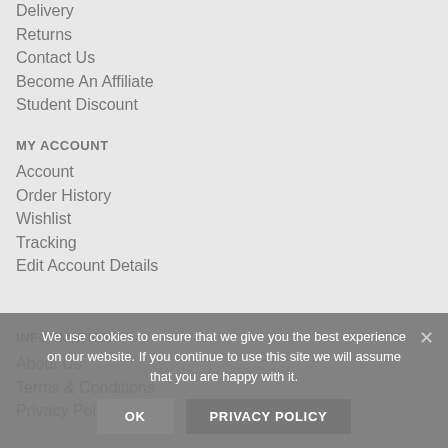Delivery
Returns
Contact Us
Become An Affiliate
Student Discount
MY ACCOUNT
Account
Order History
Wishlist
Tracking
Edit Account Details
INFORMATION
About Us
Terms & Conditions
Privacy Policy
We use cookies to ensure that we give you the best experience on our website. If you continue to use this site we will assume that you are happy with it.